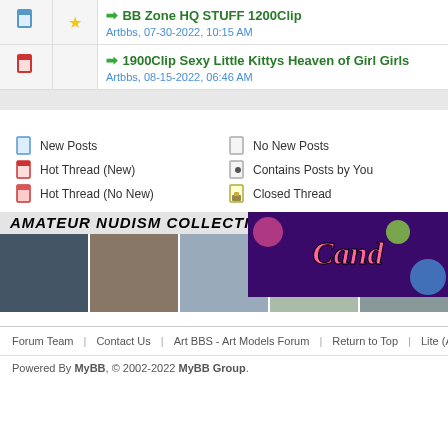| [icon] | [star] | ➡ BB Zone HQ STUFF 1200Clip | Artbbs, 07-30-2022, 10:15 AM |
| [icon] |  | ➡ 1900Clip Sexy Little Kittys Heaven of Girl Girls | Artbbs, 08-15-2022, 06:46 AM |
New Posts
No New Posts
Hot Thread (New)
Contains Posts by You
Hot Thread (No New)
Closed Thread
[Figure (photo): Amateur nudism collection banner with photos]
[Figure (photo): Candy-themed advertisement banner]
Forum Team | Contact Us | Art BBS - Art Models Forum | Return to Top | Lite (A
Powered By MyBB, © 2002-2022 MyBB Group.